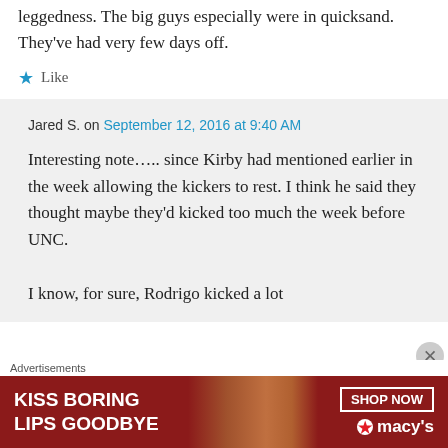leggedness. The big guys especially were in quicksand. They've had very few days off.
Like
Jared S. on September 12, 2016 at 9:40 AM
Interesting note….. since Kirby had mentioned earlier in the week allowing the kickers to rest. I think he said they thought maybe they'd kicked too much the week before UNC.

I know, for sure, Rodrigo kicked a lot
Advertisements
[Figure (other): Macy's advertisement banner: KISS BORING LIPS GOODBYE, SHOP NOW, macys star logo, with model photo]